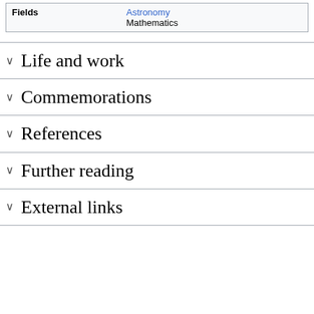| Fields |  |
| --- | --- |
| Fields | Astronomy
Mathematics |
Life and work
Commemorations
References
Further reading
External links